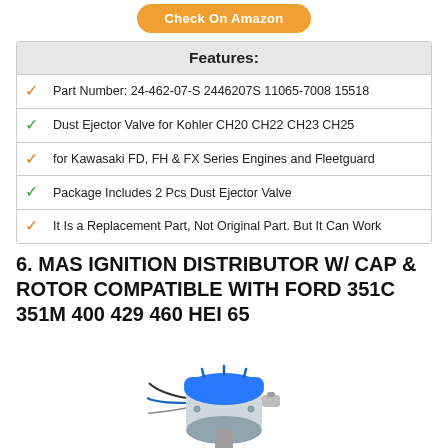Check On Amazon
Features:
Part Number: 24-462-07-S 2446207S 11065-7008 15518
Dust Ejector Valve for Kohler CH20 CH22 CH23 CH25
for Kawasaki FD, FH & FX Series Engines and Fleetguard
Package Includes 2 Pcs Dust Ejector Valve
It Is a Replacement Part, Not Original Part. But It Can Work
6. MAS IGNITION DISTRIBUTOR W/ CAP & ROTOR COMPATIBLE WITH FORD 351C 351M 400 429 460 HEI 65
[Figure (photo): Photo of an ignition distributor with blue cap and silver/chrome body with gear at the bottom]